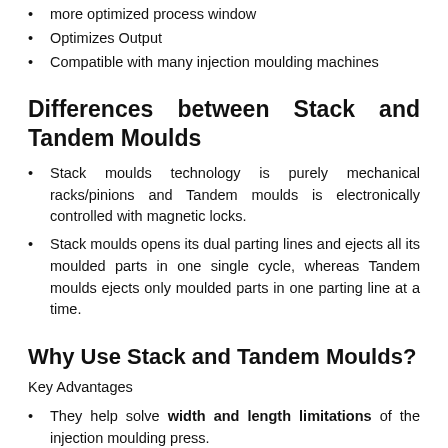more optimized process window
Optimizes Output
Compatible with many injection moulding machines
Differences between Stack and Tandem Moulds
Stack moulds technology is purely mechanical racks/pinions and Tandem moulds is electronically controlled with magnetic locks.
Stack moulds opens its dual parting lines and ejects all its moulded parts in one single cycle, whereas Tandem moulds ejects only moulded parts in one parting line at a time.
Why Use Stack and Tandem Moulds?
Key Advantages
They help solve width and length limitations of the injection moulding press.
They potentially doubles the output of the available injection moulding equipment and labor.